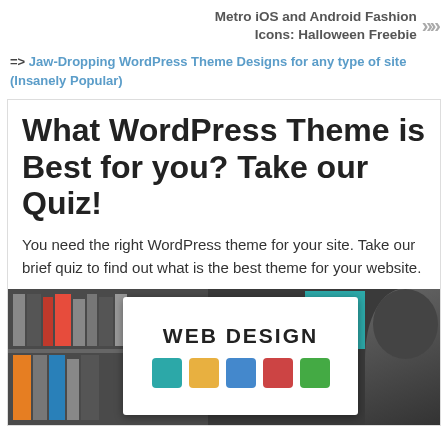Metro iOS and Android Fashion Icons: Halloween Freebie »»
=> Jaw-Dropping WordPress Theme Designs for any type of site (Insanely Popular)
What WordPress Theme is Best for you? Take our Quiz!
You need the right WordPress theme for your site. Take our brief quiz to find out what is the best theme for your website.
[Figure (photo): Photo of a person looking at a tablet or screen displaying 'WEB DESIGN' text with colorful icons below, set against a background of bookshelves with colorful books.]